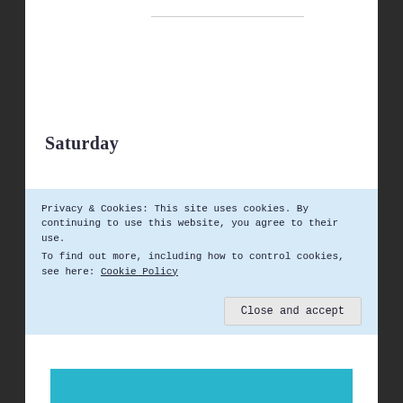Saturday
There’s no question – I’m not in Louisiana anymore; I’m not even in the real world. I met someone this afternoon. I don’t think he’s real; he’s either a hallucination or a demon – I’m just not sure which. I
Privacy & Cookies: This site uses cookies. By continuing to use this website, you agree to their use.
To find out more, including how to control cookies, see here: Cookie Policy
Close and accept